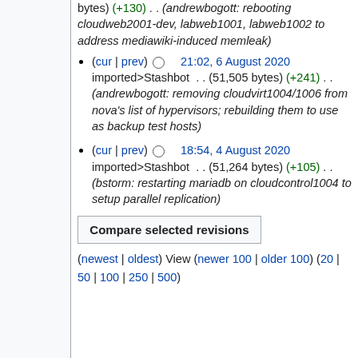bytes) (+130) . . (andrewbogott: rebooting cloudweb2001-dev, labweb1001, labweb1002 to address mediawiki-induced memleak)
(cur | prev)  21:02, 6 August 2020  imported>Stashbot . . (51,505 bytes) (+241) . . (andrewbogott: removing cloudvirt1004/1006 from nova's list of hypervisors; rebuilding them to use as backup test hosts)
(cur | prev)  18:54, 4 August 2020  imported>Stashbot . . (51,264 bytes) (+105) . . (bstorm: restarting mariadb on cloudcontrol1004 to setup parallel replication)
Compare selected revisions
(newest | oldest) View (newer 100 | older 100) (20 | 50 | 100 | 250 | 500)